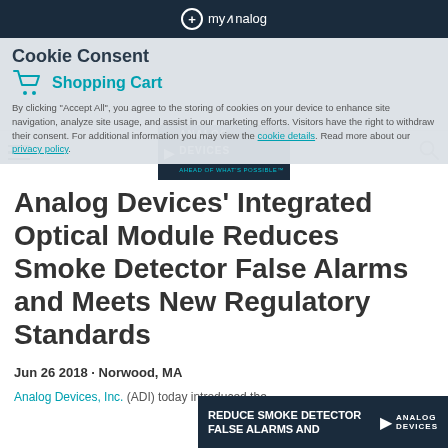+ myAnalog
[Figure (screenshot): Cookie consent overlay with Shopping Cart icon and text, cookie usage description with links to cookie details and privacy policy]
[Figure (logo): Analog Devices logo with triangle play button, 'ANALOG DEVICES' text and 'AHEAD OF WHAT'S POSSIBLE' tagline in white on dark background]
Analog Devices' Integrated Optical Module Reduces Smoke Detector False Alarms and Meets New Regulatory Standards
Jun 26 2018 · Norwood, MA
Analog Devices, Inc. (ADI) today introduced the
[Figure (screenshot): Analog Devices ad banner: 'REDUCE SMOKE DETECTOR FALSE ALARMS AND' with ADI logo on dark navy background]